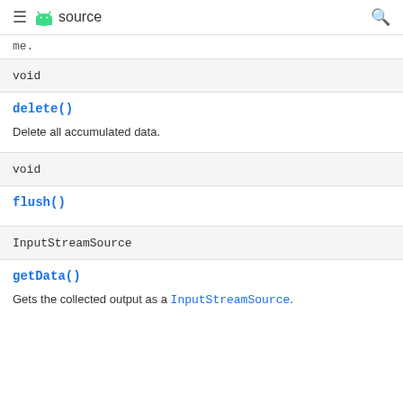≡ android source  🔍
me.
| void |
| delete() |
| Delete all accumulated data. |
| void |
| flush() |
| InputStreamSource |
| getData() |
| Gets the collected output as a InputStreamSource. |
Gets the collected output as a InputStreamSource.